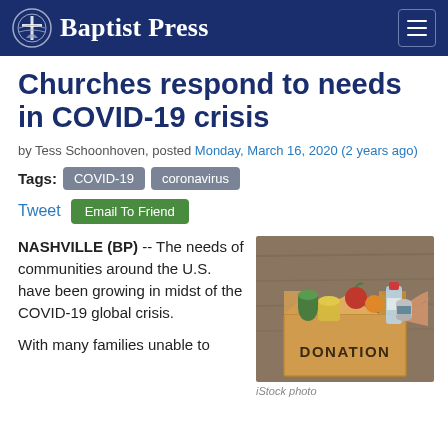Baptist Press
Churches respond to needs in COVID-19 crisis
by Tess Schoonhoven, posted Monday, March 16, 2020 (2 years ago)
Tags: COVID-19 coronavirus
Tweet Email To Friend
NASHVILLE (BP) -- The needs of communities around the U.S. have been growing in midst of the COVID-19 global crisis.
With many families unable to
[Figure (photo): A cardboard donation box filled with canned goods, bottled water, and fresh produce (fruits and vegetables), with a person's hand placing items inside. The box is labeled DONATION in block letters.]
iStock photo